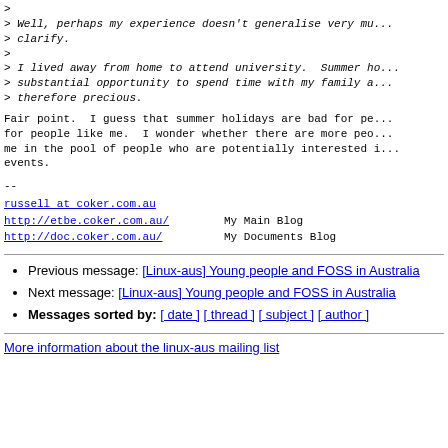> 
> Well, perhaps my experience doesn't generalise very mu...
> clarify.
>
> I lived away from home to attend university. Summer ho...
> substantial opportunity to spend time with my family a...
> therefore precious.
Fair point.  I guess that summer holidays are bad for pe... for people like me.  I wonder whether there are more peo... me in the pool of people who are potentially interested ... events.
--
russell at coker.com.au
http://etbe.coker.com.au/    My Main Blog
http://doc.coker.com.au/    My Documents Blog
Previous message: [Linux-aus] Young people and FOSS in Australia
Next message: [Linux-aus] Young people and FOSS in Australia
Messages sorted by: [ date ] [ thread ] [ subject ] [ author ]
More information about the linux-aus mailing list